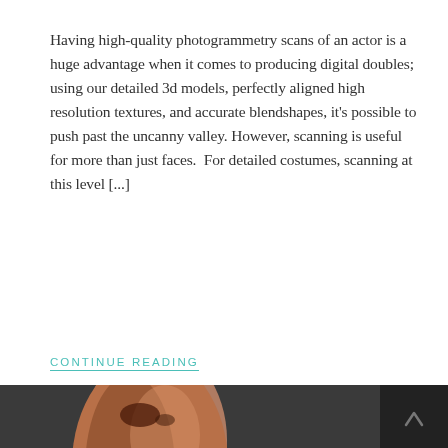Having high-quality photogrammetry scans of an actor is a huge advantage when it comes to producing digital doubles; using our detailed 3d models, perfectly aligned high resolution textures, and accurate blendshapes, it's possible to push past the uncanny valley. However, scanning is useful for more than just faces.  For detailed costumes, scanning at this level [...]
CONTINUE READING
[Figure (photo): Two 3D rendered heads of an aged male figure shown side by side — one in color showing skin texture, and one in grayscale/white clay render — both displaying detailed wrinkles and facial expressions, set against a dark background.]